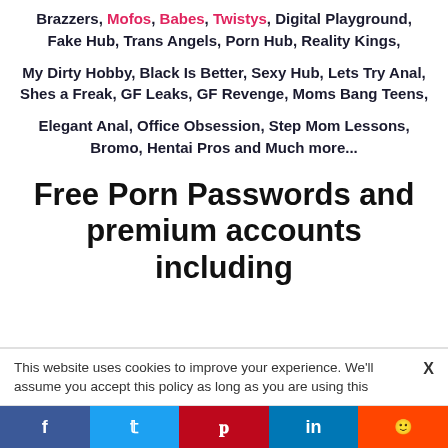Brazzers, Mofos, Babes, Twistys, Digital Playground, Fake Hub, Trans Angels, Porn Hub, Reality Kings,
My Dirty Hobby, Black Is Better, Sexy Hub, Lets Try Anal, Shes a Freak, GF Leaks, GF Revenge, Moms Bang Teens,
Elegant Anal, Office Obsession, Step Mom Lessons, Bromo, Hentai Pros and Much more...
Free Porn Passwords and premium accounts including
This website uses cookies to improve your experience. We'll assume you accept this policy as long as you are using this
f  t  p  in  reddit